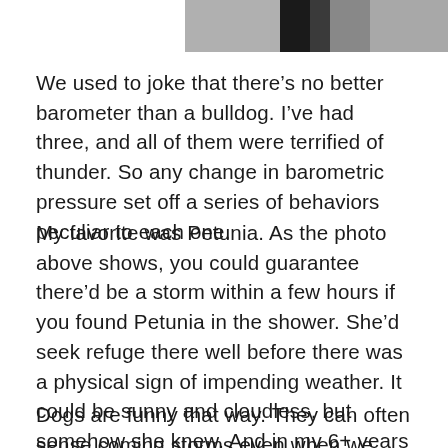[Figure (photo): Partial photo of a bulldog, cropped at the top of the page showing the dog from roughly the neck up against a light background.]
We used to joke that there's no better barometer than a bulldog. I've had three, and all of them were terrified of thunder. So any change in barometric pressure set off a series of behaviors peculiar to each one.
My favorite was Petunia. As the photo above shows, you could guarantee there'd be a storm within a few hours if you found Petunia in the shower. She'd seek refuge there well before there was a physical sign of impending weather. It could be sunny and cloudless, but somehow she knew. And in my 6+ years of living with her, she was never wrong.
Dogs are funny that way. They can often sense coming storms even when we don't. And not just weather storms.